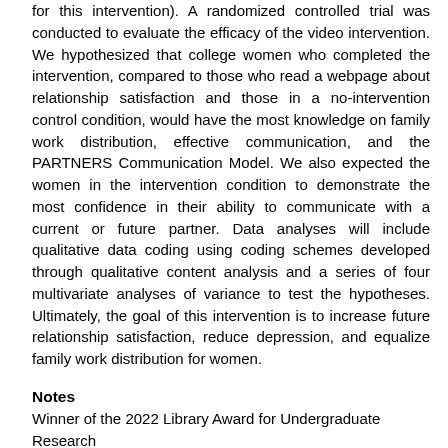for this intervention). A randomized controlled trial was conducted to evaluate the efficacy of the video intervention. We hypothesized that college women who completed the intervention, compared to those who read a webpage about relationship satisfaction and those in a no-intervention control condition, would have the most knowledge on family work distribution, effective communication, and the PARTNERS Communication Model. We also expected the women in the intervention condition to demonstrate the most confidence in their ability to communicate with a current or future partner. Data analyses will include qualitative data coding using coding schemes developed through qualitative content analysis and a series of four multivariate analyses of variance to test the hypotheses. Ultimately, the goal of this intervention is to increase future relationship satisfaction, reduce depression, and equalize family work distribution for women.
Notes
Winner of the 2022 Library Award for Undergraduate Research
URI
http://hdl.handle.net/1903/28549